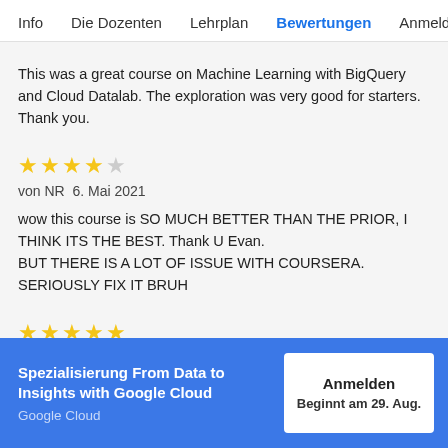Info   Die Dozenten   Lehrplan   Bewertungen   Anmelde
This was a great course on Machine Learning with BigQuery and Cloud Datalab. The exploration was very good for starters.
Thank you.
[Figure (other): 4 out of 5 stars rating]
von NR  6. Mai 2021
wow this course is SO MUCH BETTER THAN THE PRIOR, I THINK ITS THE BEST. Thank U Evan.
BUT THERE IS A LOT OF ISSUE WITH COURSERA. SERIOUSLY FIX IT BRUH
[Figure (other): 5 out of 5 stars rating]
von AT  19. Aug. 2019
Spezialisierung From Data to Insights with Google Cloud
Google Cloud
Anmelden
Beginnt am 29. Aug.